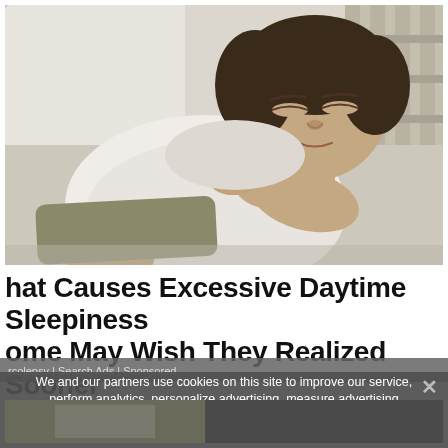[Figure (photo): A woman lying on a bed, wearing a white sleeveless shirt and shorts, with eyes closed, appearing to sleep or rest. She is lying on her back on a white pillow with striped pillows in the background.]
hat Causes Excessive Daytime Sleepiness Some May Wish They Realized Sooner
rcolepsy | Search Ads | Sponsored
We and our partners use cookies on this site to improve our service, perform analytics, personalize advertising, measure advertising performance, and remember website preferences.
Ok
[Figure (photo): Partial view of another image at the bottom of the page, showing what appears to be a person or scene, partially obscured by the cookie consent overlay.]